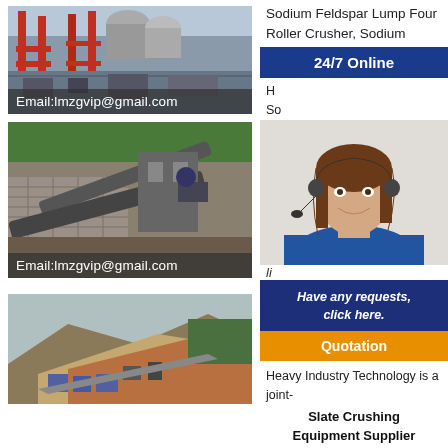[Figure (photo): Industrial mining/crushing plant with red metal structures, equipment and machinery. Email overlay reads Email:lmzgvip@gmail.com]
[Figure (photo): Outdoor stone crushing operation site with conveyor belts, stone walls, and green trees in background. Email overlay reads Email:lmzgvip@gmail.com]
[Figure (photo): Mining site on hillside with open pit excavation, blue buildings, and machinery]
Sodium Feldspar Lump Four Roller Crusher, Sodium
24/7 Online
H... So...
li
[Figure (photo): Customer service agent woman wearing headset and blue shirt, smiling]
Have any requests, click here.
Quotation
Heavy Industry Technology is a joint-
Slate Crushing Equipment Supplier Mining
the company. The MTU E... will